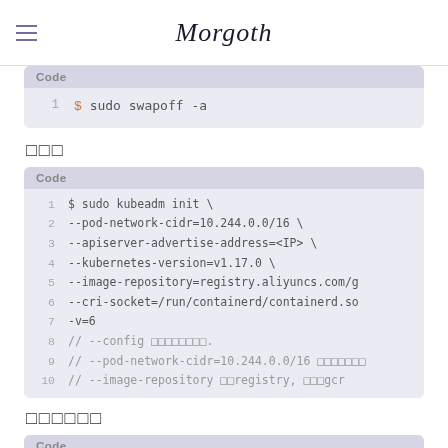Morgoth
[Figure (screenshot): Code block showing: $ sudo swapoff -a]
□□□
[Figure (screenshot): Code block showing kubeadm init command with multiple flags: --pod-network-cidr=10.244.0.0/16, --apiserver-advertise-address=<IP>, --kubernetes-version=v1.17.0, --image-repository=registry.aliyuncs.com/g..., --cri-socket=/run/containerd/containerd.so..., -v=6, and commented lines]
□□□□□□
[Figure (screenshot): Code block showing: mkdir -p $HOME/.kube and sudo cp -i /etc/kubernetes/admin.conf $HOME...]